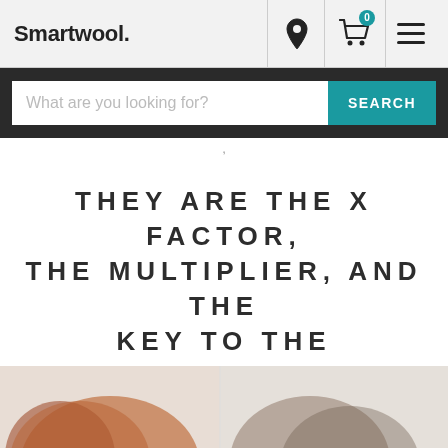Smartwool.
What are you looking for?  SEARCH
THEY ARE THE X FACTOR, THE MULTIPLIER, AND THE KEY TO THE EQUATION.
[Figure (photo): Bottom portion of page showing partial product images (socks/footwear) cropped at bottom edge]